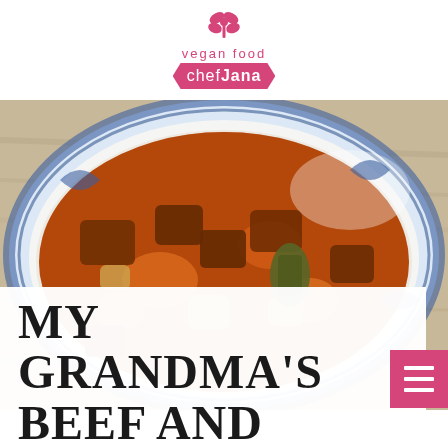[Figure (logo): Vegan Food Chef Jana logo with pink butterfly/flower icon, 'vegan food' text, and pink banner with 'chefJana' text]
[Figure (photo): A bowl of vegan beef and vegetable stew with carrots, potatoes, seitan chunks in brown sauce, served in a white bowl with blue decorative rim on a wooden surface]
MY GRANDMA'S BEEF AND